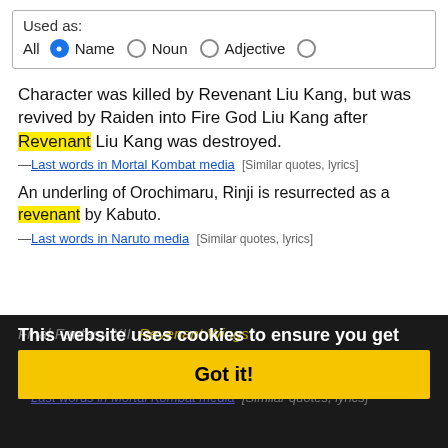Used as:
All ● Name ○ Noun ○ Adjective ○
Character was killed by Revenant Liu Kang, but was revived by Raiden into Fire God Liu Kang after Revenant Liu Kang was destroyed.
—Last words in Mortal Kombat media [Similar quotes, lyrics]
An underling of Orochimaru, Rinji is resurrected as a revenant by Kabuto.
—Last words in Naruto media [Similar quotes, lyrics]
Final Fantasy XII: Revenant Wings".
This website uses cookies to ensure you get the best experience on our website.
Learn more
In the second last word, character sacrificed ... e Liu Kang by destroying Revenant Liu Kang, but was revived into mortal.
—Last words in Mortal Kombat media [Similar quotes, lyrics]
Got it!
For his failure to recapture him, Moloch is executed by the revenant Kitana when she decapitates him with her fans.